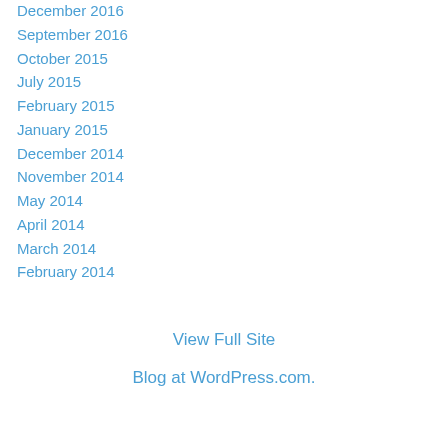December 2016
September 2016
October 2015
July 2015
February 2015
January 2015
December 2014
November 2014
May 2014
April 2014
March 2014
February 2014
View Full Site
Blog at WordPress.com.